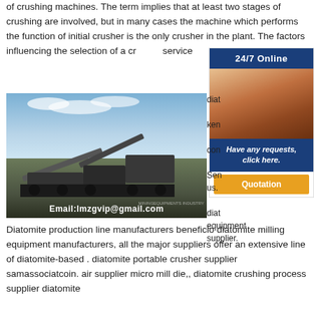of crushing machines. The term implies that at least two stages of crushing are involved, but in many cases the machine which performs the function of initial crusher is the only crusher in the plant. The factors influencing the selection of a cr... service
[Figure (photo): Industrial crushing/mining equipment on a job site with blue sky background. Overlaid text reads: Email:lmzgvip@gmail.com]
[Figure (photo): Sidebar ad with a woman wearing a headset. Header: 24/7 Online. Text: Have any requests, click here. Button: Quotation]
diatomite ... kenya ... con... Send us. ... diatomite ... equipment supplier.
Diatomite production line manufacturers beneficio diatomite milling equipment manufacturers, all the major suppliers offer an extensive line of diatomite-based . diatomite portable crusher supplier samassociatcoin. air supplier micro mill die,, diatomite crushing process supplier diatomite